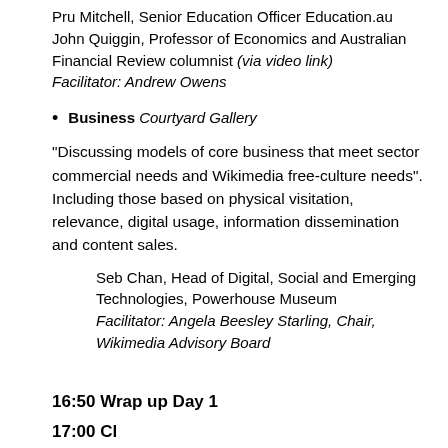Pru Mitchell, Senior Education Officer Education.au
John Quiggin, Professor of Economics and Australian Financial Review columnist (via video link)
Facilitator: Andrew Owens
Business Courtyard Gallery
"Discussing models of core business that meet sector commercial needs and Wikimedia free-culture needs". Including those based on physical visitation, relevance, digital usage, information dissemination and content sales.
Seb Chan, Head of Digital, Social and Emerging Technologies, Powerhouse Museum
Facilitator: Angela Beesley Starling, Chair, Wikimedia Advisory Board
16:50 Wrap up Day 1
17:00 Cl…